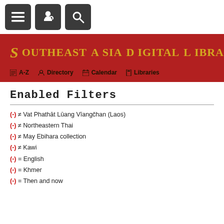Navigation bar with menu, share, and search buttons
[Figure (screenshot): Southeast Asia Digital Library banner with red background, gold title text, and navigation links: A-Z, Directory, Calendar, Libraries]
Enabled Filters
(-) ≠ Vat Phathāt Lūang Vīangčhan (Laos)
(-) ≠ Northeastern Thai
(-) ≠ May Ebihara collection
(-) ≠ Kawi
(-) = English
(-) = Khmer
(-) = Then and now